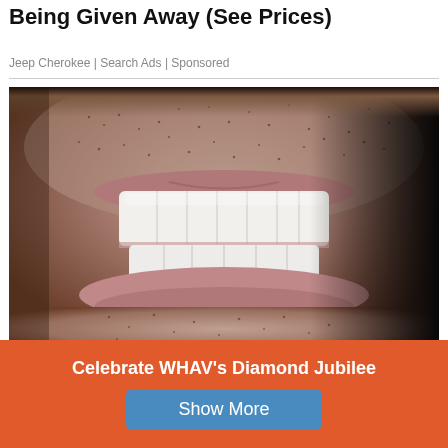Being Given Away (See Prices)
Jeep Cherokee | Search Ads | Sponsored
[Figure (photo): Close-up photo of a man's smile showing white dental implants/veneers, with stubble beard and lips visible. Dark background on right side.]
One Day Full Mouth Dental Implants (See The Costs)
Celebrate WHAV's Diamond Jubilee
Show More